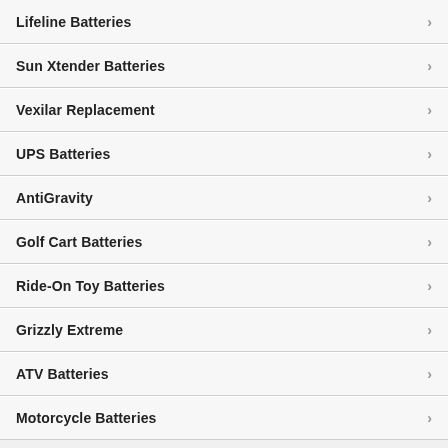Lifeline Batteries
Sun Xtender Batteries
Vexilar Replacement
UPS Batteries
AntiGravity
Golf Cart Batteries
Ride-On Toy Batteries
Grizzly Extreme
ATV Batteries
Motorcycle Batteries